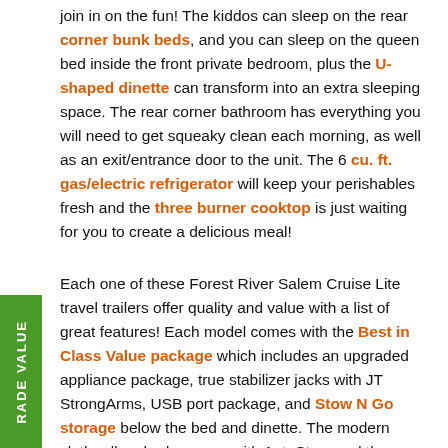join in on the fun! The kiddos can sleep on the rear corner bunk beds, and you can sleep on the queen bed inside the front private bedroom, plus the U-shaped dinette can transform into an extra sleeping space. The rear corner bathroom has everything you will need to get squeaky clean each morning, as well as an exit/entrance door to the unit. The 6 cu. ft. gas/electric refrigerator will keep your perishables fresh and the three burner cooktop is just waiting for you to create a delicious meal!
Each one of these Forest River Salem Cruise Lite travel trailers offer quality and value with a list of great features! Each model comes with the Best in Class Value package which includes an upgraded appliance package, true stabilizer jacks with JT StrongArms, USB port package, and Stow N Go storage below the bed and dinette. The modern cloth roller shades come with AutoStop, and the SolidStep double step ensures you will safely enter the unit.